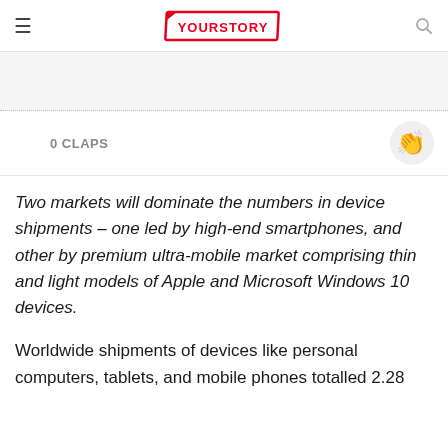YourStory
[Figure (other): Gray advertisement banner area]
0 CLAPS
Two markets will dominate the numbers in device shipments – one led by high-end smartphones, and other by premium ultra-mobile market comprising thin and light models of Apple and Microsoft Windows 10 devices.
Worldwide shipments of devices like personal computers, tablets, and mobile phones totalled 2.28